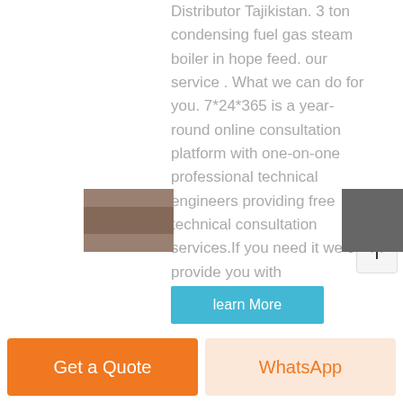Distributor Tajikistan. 3 ton condensing fuel gas steam boiler in hope feed. our service . What we can do for you. 7*24*365 is a year-round online consultation platform with one-on-one professional technical engineers providing free technical consultation services.If you need it we can provide you with
[Figure (other): Scroll to top button with upward arrow icon]
[Figure (other): Learn More button in teal/cyan color]
[Figure (photo): Partial thumbnail image at bottom left]
[Figure (other): Gray box at bottom right]
Get a Quote
WhatsApp